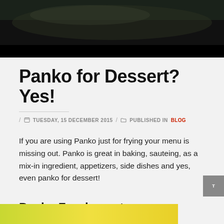[Figure (photo): Dark hero image at top of blog page, showing a food dish with dark background]
Panko for Dessert? Yes!
/ TUESDAY, 15 DECEMBER 2015 / PUBLISHED IN BLOG
If you are using Panko just for frying your menu is missing out. Panko is great in baking, sauteing, as a mix-in ingredient, appetizers, side dishes and yes, even panko for dessert!
Panko For dessert, an easy sweet topping: